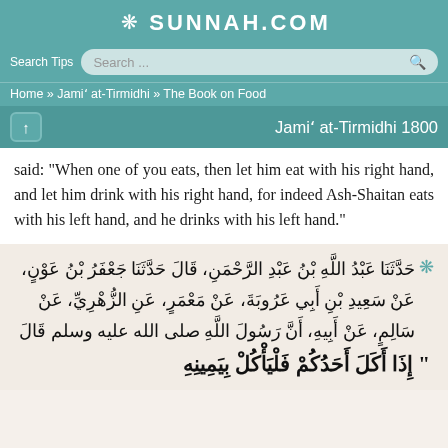SUNNAH.COM
Search Tips  Search...
Home » Jami` at-Tirmidhi » The Book on Food
Jami` at-Tirmidhi 1800
said: "When one of you eats, then let him eat with his right hand, and let him drink with his right hand, for indeed Ash-Shaitan eats with his left hand, and he drinks with his left hand."
حَدَّثَنَا عَبْدُ اللَّهِ بْنُ عَبْدِ الرَّحْمَنِ، قَالَ حَدَّثَنَا جَعْفَرُ بْنُ عَوْنٍ، عَنْ سَعِيدِ بْنِ أَبِي عَرُوبَةَ، عَنْ مَعْمَرٍ، عَنِ الزُّهْرِيِّ، عَنْ سَالِمٍ، عَنْ أَبِيهِ، أَنَّ رَسُولَ اللَّهِ صلى الله عليه وسلم قَالَ " إِذَا أَكَلَ أَحَدُكُمْ فَلْيَأْكُلْ بِيَمِينِهِ